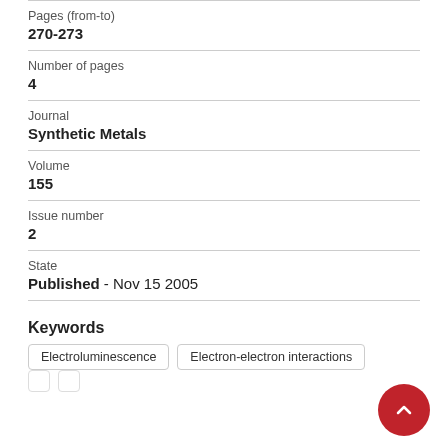Pages (from-to)
270-273
Number of pages
4
Journal
Synthetic Metals
Volume
155
Issue number
2
State
Published - Nov 15 2005
Keywords
Electroluminescence
Electron-electron interactions